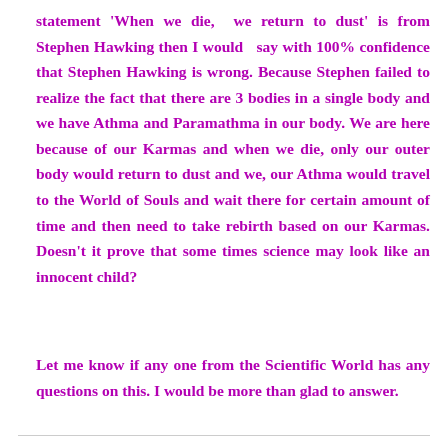statement 'When we die, we return to dust' is from Stephen Hawking then I would say with 100% confidence that Stephen Hawking is wrong. Because Stephen failed to realize the fact that there are 3 bodies in a single body and we have Athma and Paramathma in our body. We are here because of our Karmas and when we die, only our outer body would return to dust and we, our Athma would travel to the World of Souls and wait there for certain amount of time and then need to take rebirth based on our Karmas. Doesn't it prove that some times science may look like an innocent child?
Let me know if any one from the Scientific World has any questions on this. I would be more than glad to answer.